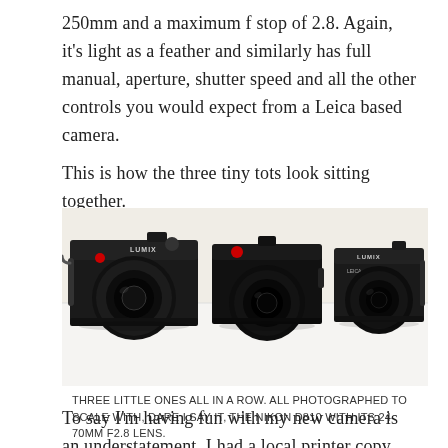250mm and a maximum f stop of 2.8. Again, it's light as a feather and similarly has full manual, aperture, shutter speed and all the other controls you would expect from a Leica based camera.
This is how the three tiny tots look sitting together.
[Figure (photo): Three compact cameras sitting side by side on a white surface: Panasonic Lumix LX100 on the left, Leica D-Lux on the center, and Panasonic Lumix TZ110 on the right. All photographed to scale.]
THREE LITTLE ONES ALL IN A ROW. ALL PHOTOGRAPHED TO SCALE WITH, DARE I SAY IT, THE NIKON D810 WITH ITS 24-70MM F2.8 LENS.
To say I'm having fun with my new camera is an understatement. I had a local printer copy the TZ110's